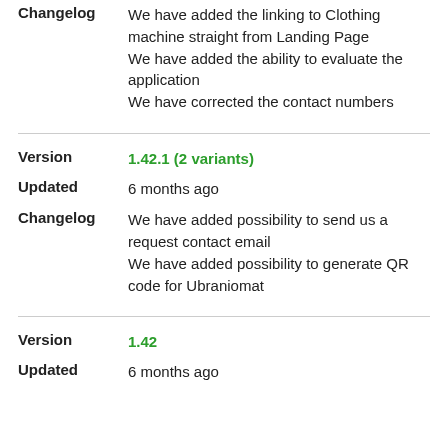Changelog
We have added the linking to Clothing machine straight from Landing Page
We have added the ability to evaluate the application
We have corrected the contact numbers
Version
1.42.1 (2 variants)
Updated
6 months ago
Changelog
We have added possibility to send us a request contact email
We have added possibility to generate QR code for Ubraniomat
Version
1.42
Updated
6 months ago